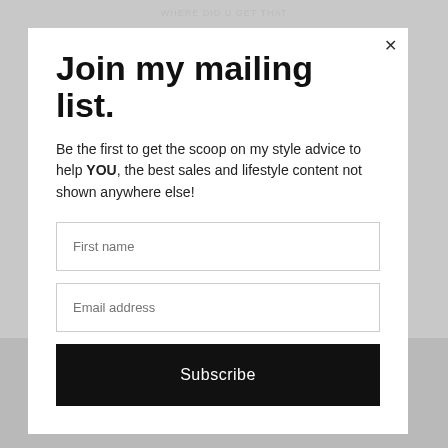Join my mailing list.
Be the first to get the scoop on my style advice to help YOU, the best sales and lifestyle content not shown anywhere else!
First name
Email address
Subscribe